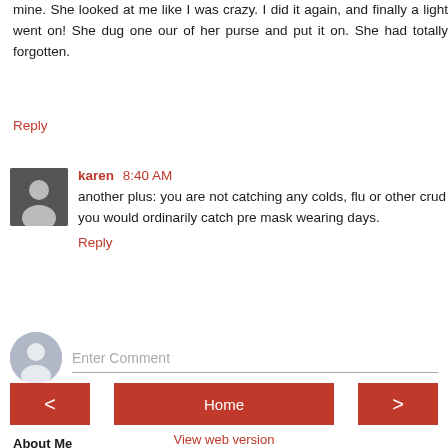mine. She looked at me like I was crazy. I did it again, and finally a light went on! She dug one our of her purse and put it on. She had totally forgotten.
Reply
karen 8:40 AM
another plus: you are not catching any colds, flu or other crud you would ordinarily catch pre mask wearing days.
Reply
Enter Comment
Home
View web version
About Me